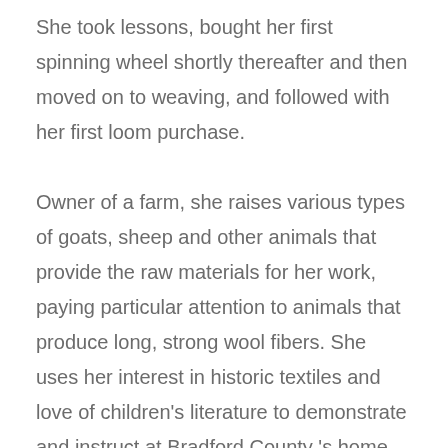She took lessons, bought her first spinning wheel shortly thereafter and then moved on to weaving, and followed with her first loom purchase.

Owner of a farm, she raises various types of goats, sheep and other animals that provide the raw materials for her work, paying particular attention to animals that produce long, strong wool fibers. She uses her interest in historic textiles and love of children's literature to demonstrate and instruct at Bradford County 's home textile museum, at Muncy Historical Society's educational events, at Lycoming County 's Day Camp, and at the Warrior Run-Fort